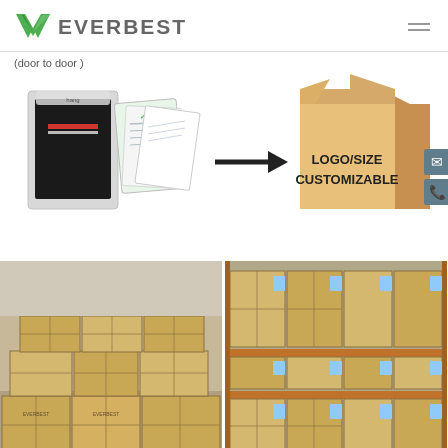[Figure (logo): Everbest company logo with green V-shaped checkmark and gray EVERBEST text, plus hamburger menu icon on the right]
(door to door )
[Figure (infographic): Packaging diagram showing individual garment bags with documents, a black arrow pointing right, and a cardboard shipping box labeled LOGO/SIZE CUSTOMIZABLE]
[Figure (photo): Two warehouse photos side by side showing stacked cardboard shipping boxes]